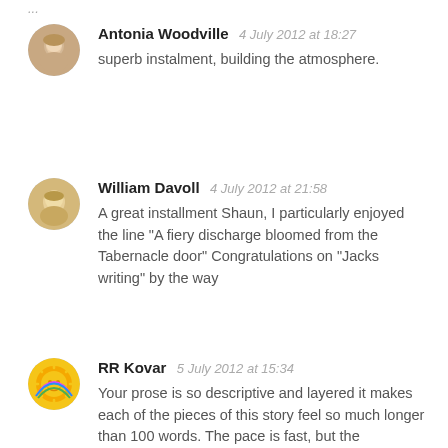...
Antonia Woodville  4 July 2012 at 18:27
superb instalment, building the atmosphere.
William Davoll  4 July 2012 at 21:58
A great installment Shaun, I particularly enjoyed the line "A fiery discharge bloomed from the Tabernacle door" Congratulations on "Jacks writing" by the way
RR Kovar  5 July 2012 at 15:34
Your prose is so descriptive and layered it makes each of the pieces of this story feel so much longer than 100 words. The pace is fast, but the